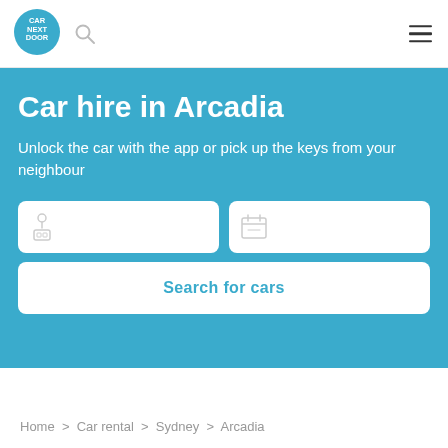[Figure (logo): Car Next Door circular teal logo with white text]
Car hire in Arcadia
Unlock the car with the app or pick up the keys from your neighbour
[Figure (screenshot): Location search input field with map pin and car icons]
[Figure (screenshot): Date/time search input field with calendar icon]
Search for cars
Home > Car rental > Sydney > Arcadia